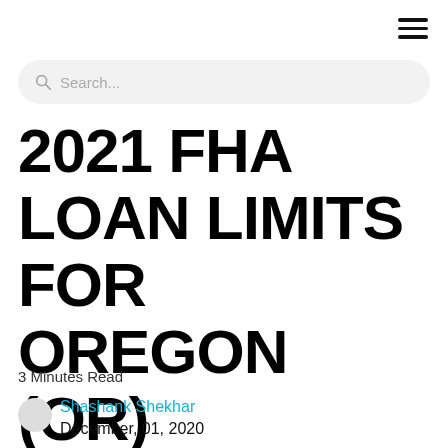2021 FHA LOAN LIMITS FOR OREGON (OR)
3 Minutes Read
Shashank Shekhar
December, 01, 2020